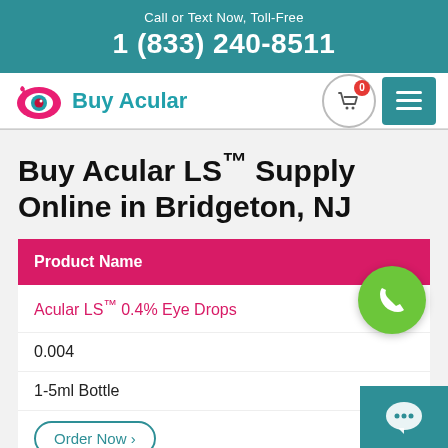Call or Text Now, Toll-Free
1 (833) 240-8511
[Figure (logo): Buy Acular logo with eye icon in pink/red and teal text reading 'Buy Acular']
Buy Acular LS™ Supply Online in Bridgeton, NJ
| Product Name |
| --- |
| Acular LS™ 0.4% Eye Drops |
| 0.004 |
| 1-5ml Bottle |
| Order Now › |